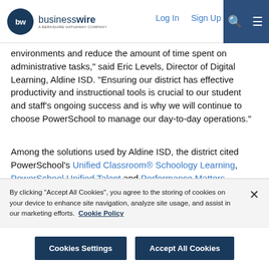businesswire — A BERKSHIRE HATHAWAY COMPANY | Log In | Sign Up
environments and reduce the amount of time spent on administrative tasks," said Eric Levels, Director of Digital Learning, Aldine ISD. "Ensuring our district has effective productivity and instructional tools is crucial to our student and staff's ongoing success and is why we will continue to choose PowerSchool to manage our day-to-day operations."
Among the solutions used by Aldine ISD, the district cited PowerSchool's Unified Classroom® Schoology Learning, PowerSchool Unified Talent and Performance Matters platforms as the most favorable solutions among students and staff. Unified Classroom® Schoology Learning's capabilities has helped provide
By clicking “Accept All Cookies”, you agree to the storing of cookies on your device to enhance site navigation, analyze site usage, and assist in our marketing efforts.  Cookie Policy
Cookies Settings | Accept All Cookies